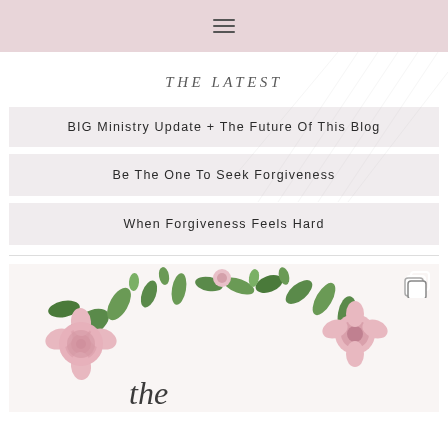☰ (hamburger menu icon)
THE LATEST
BIG Ministry Update + The Future Of This Blog
Be The One To Seek Forgiveness
When Forgiveness Feels Hard
[Figure (photo): Floral watercolor illustration with pink roses and green leaves, with cursive text partially visible at the bottom reading 'the...' and an Instagram multi-image icon overlay in the top right corner.]